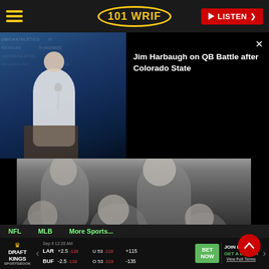101 WRIF — LISTEN
[Figure (screenshot): Jim Harbaugh at press conference podium with Michigan Athletics backdrop, split screen with black panel showing video title text]
Jim Harbaugh on QB Battle after Colorado State
[Figure (photo): Black and white photograph of The Beatles, four members posing together]
NFL   MLB   More Sports...
Sep 9 12:20 AM  Point Spread  Total Points  Moneyline
LAR  +2.5 -110  U 53 -110  +115  BET NOW
BUF  -2.5 -110  O 53 -110  -135
JOIN DRAFTKI  GET A DEPOSI  View Full Terms